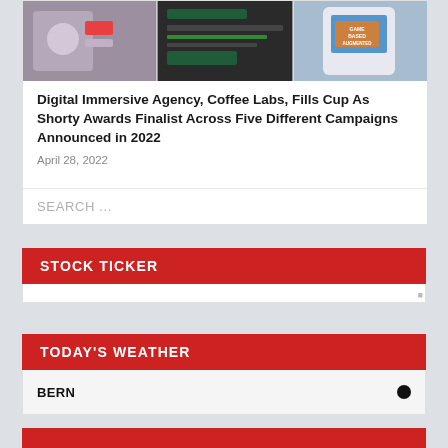[Figure (photo): Collage of three images: a person holding a phone with a dog AR filter, a dark website interface, and a phone with game-based augmented reality text]
Digital Immersive Agency, Coffee Labs, Fills Cup As Shorty Awards Finalist Across Five Different Campaigns Announced in 2022
April 28, 2022
SEARCH ...
STOCK TICKER
TODAY'S WEATHER
BERN